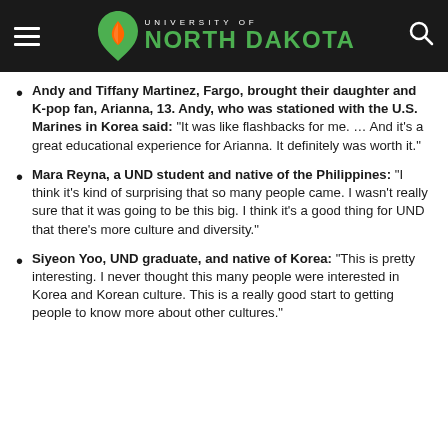University of North Dakota
Andy and Tiffany Martinez, Fargo, brought their daughter and K-pop fan, Arianna, 13. Andy, who was stationed with the U.S. Marines in Korea said: “It was like flashbacks for me. … And it’s a great educational experience for Arianna. It definitely was worth it.”
Mara Reyna, a UND student and native of the Philippines: “I think it’s kind of surprising that so many people came. I wasn’t really sure that it was going to be this big. I think it’s a good thing for UND that there’s more culture and diversity.”
Siyeon Yoo, UND graduate, and native of Korea: “This is pretty interesting. I never thought this many people were interested in Korea and Korean culture. This is a really good start to getting people to know more about other cultures.”